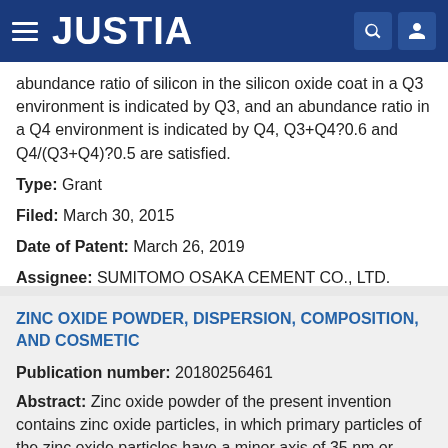JUSTIA
abundance ratio of silicon in the silicon oxide coat in a Q3 environment is indicated by Q3, and an abundance ratio in a Q4 environment is indicated by Q4, Q3+Q4?0.6 and Q4/(Q3+Q4)?0.5 are satisfied.
Type: Grant
Filed: March 30, 2015
Date of Patent: March 26, 2019
Assignee: SUMITOMO OSAKA CEMENT CO., LTD.
Inventors: Tetsuro Itagaki, Gaku Fujihashi, Syunsuke Suma
ZINC OXIDE POWDER, DISPERSION, COMPOSITION, AND COSMETIC
Publication number: 20180256461
Abstract: Zinc oxide powder of the present invention contains zinc oxide particles, in which primary particles of the zinc oxide particles have a minor axis of 35 nm or